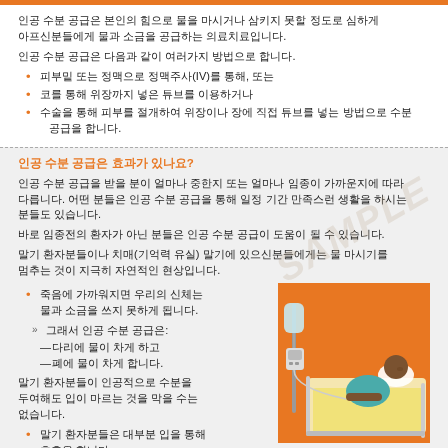인공 수분 공급은 본인의 힘으로 물을 마시거나 삼키지 못할 정도로 심하게 아프신분들에게 물과 소금을 공급하는 의료치료입니다.
인공 수분 공급은 다음과 같이 여러가지 방법으로 합니다.
피부밑 또는 정맥으로 정맥주사(IV)를 통해, 또는
코를 통해 위장까지 넣은 튜브를 이용하거나
수술을 통해 피부를 절개하여 위장이나 장에 직접 튜브를 넣는 방법으로 수분 공급을 합니다.
인공 수분 공급은 효과가 있나요?
인공 수분 공급을 받을 분이 얼마나 중한지 또는 얼마나 임종이 가까운지에 따라 다릅니다. 어떤 분들은 인공 수분 공급을 통해 일정 기간 만족스런 생활을 하시는 분들도 있습니다.
바로 임종전의 환자가 아닌 분들은 인공 수분 공급이 도움이 될 수 있습니다.
말기 환자분들이나 치매(기억력 유실) 말기에 있으신분들에게는 물 마시기를 멈추는 것이 지극히 자연적인 현상입니다.
죽음에 가까워지면 우리의 신체는 물과 소금을 쓰지 못하게 됩니다.
그래서 인공 수분 공급은:
다리에 물이 차게 하고
폐에 물이 차게 합니다.
[Figure (illustration): Illustration of a patient lying in a hospital bed with an IV drip stand beside him, orange background]
말기 환자분들이 인공적으로 수분을 투여해도 입이 마르는 것을 막을 수는 없습니다.
말기 환자분들은 대부분 입을 통해 호흡을 합니다.
대부분 말기 환자분들의 입이 말라있는 것은 자연스리운 것입니다.